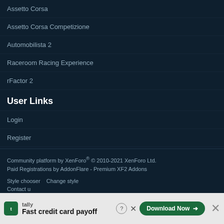Assetto Corsa
Assetto Corsa Competizione
Automobilista 2
Raceroom Racing Experience
rFactor 2
User Links
Login
Register
Community platform by XenForo® © 2010-2021 XenForo Ltd.
Paid Registrations by AddonFlare - Premium XF2 Addons
Style chooser   Change style
Contact u